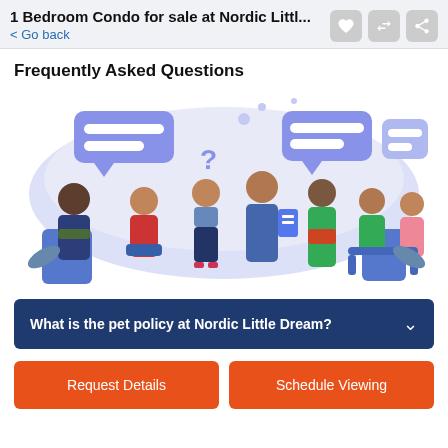1 Bedroom Condo for sale at Nordic Littl...
< Go back
Frequently Asked Questions
[Figure (illustration): Flat vector illustration of a group of diverse people having a Q&A session, with speech bubbles and question marks, blue-purple color scheme on a light lavender background.]
What is the pet policy at Nordic Little Dream?
Request Details
Schedule Viewing